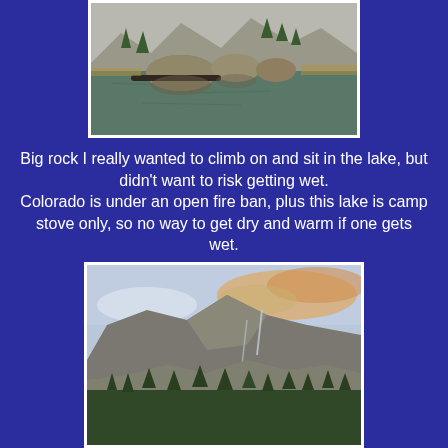[Figure (photo): A mountain lake with large boulders sitting in the shallow water near the shore, with conifer trees and rocky alpine terrain in the background. The rocks are reflected in the calm lake surface.]
Big rock I really wanted to climb on and sit in the lake, but didn't want to risk getting wet. Colorado is under an open fire ban, plus this lake is camp stove only, so no way to get dry and warm if one gets wet.
[Figure (photo): A dramatic mountain scene with steep rocky peaks and ridgelines under a partly cloudy sky with orange-tinted clouds near the horizon. Dense conifer forest covers the lower slopes, with rocky talus and cascading water visible on the mountainside.]